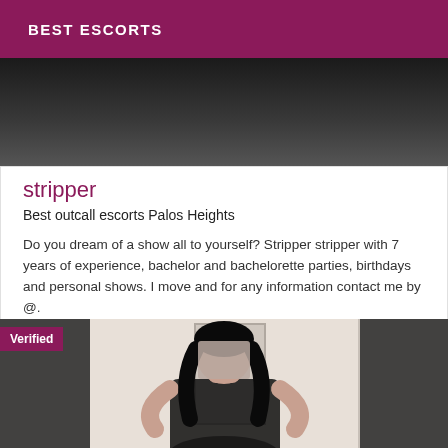BEST ESCORTS
[Figure (photo): Dark background photo, partially visible person in dark clothing]
stripper
Best outcall escorts Palos Heights
Do you dream of a show all to yourself? Stripper stripper with 7 years of experience, bachelor and bachelorette parties, birthdays and personal shows. I move and for any information contact me by @.
[Figure (photo): Verified badge on photo of a woman with dark hair, face blurred, wearing black outfit, posing indoors]